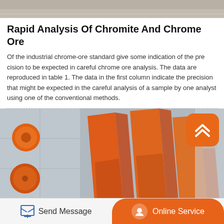[Figure (photo): Top portion of an industrial/mining facility photo — sandy/gravelly ground texture]
Rapid Analysis Of Chromite And Chrome Ore
Of the industrial chrome-ore standard give some indication of the precision to be expected in careful chrome ore analysis. The data are reproduced in table 1. The data in the first column indicate the precision that might be expected in the careful analysis of a sample by one analyst using one of the conventional methods.
[Figure (photo): Industrial mining/crushing machine with a gray body, large orange/red bolted circular elements on the side, and prominent orange angled chute/blade structures. An orange rounded-rectangle button with an upward chevron arrow is overlaid in the top-right corner.]
Send Message | Online Service